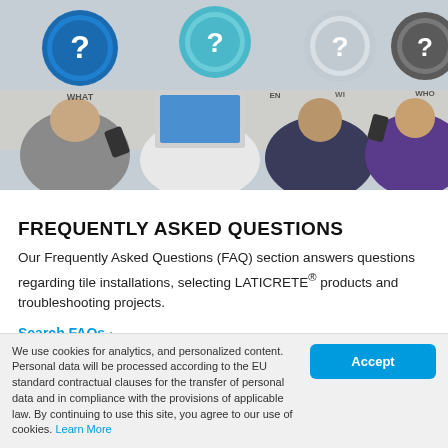[Figure (photo): Overhead view of people sitting at a table using phones and laptops, with FAQ question mark icons (WHAT, WHERE, WHEN, WHY, WHO) overlaid on the image]
FREQUENTLY ASKED QUESTIONS
Our Frequently Asked Questions (FAQ) section answers questions regarding tile installations, selecting LATICRETE® products and troubleshooting projects.
Search FAQs >
We use cookies for analytics, and personalized content. Personal data will be processed according to the EU standard contractual clauses for the transfer of personal data and in compliance with the provisions of applicable law. By continuing to use this site, you agree to our use of cookies. Learn More